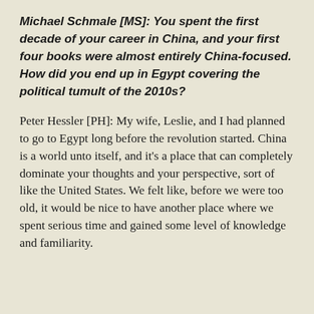Michael Schmale [MS]: You spent the first decade of your career in China, and your first four books were almost entirely China-focused. How did you end up in Egypt covering the political tumult of the 2010s?
Peter Hessler [PH]: My wife, Leslie, and I had planned to go to Egypt long before the revolution started. China is a world unto itself, and it's a place that can completely dominate your thoughts and your perspective, sort of like the United States. We felt like, before we were too old, it would be nice to have another place where we spent serious time and gained some level of knowledge and familiarity.